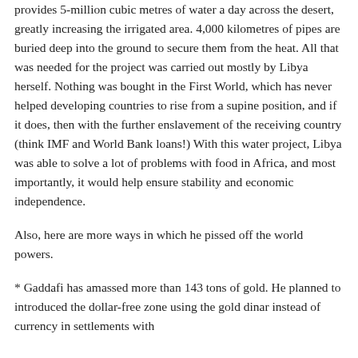provides 5-million cubic metres of water a day across the desert, greatly increasing the irrigated area. 4,000 kilometres of pipes are buried deep into the ground to secure them from the heat. All that was needed for the project was carried out mostly by Libya herself. Nothing was bought in the First World, which has never helped developing countries to rise from a supine position, and if it does, then with the further enslavement of the receiving country (think IMF and World Bank loans!) With this water project, Libya was able to solve a lot of problems with food in Africa, and most importantly, it would help ensure stability and economic independence.
Also, here are more ways in which he pissed off the world powers.
* Gaddafi has amassed more than 143 tons of gold. He planned to introduced the dollar-free zone using the gold dinar instead of currency in settlements with